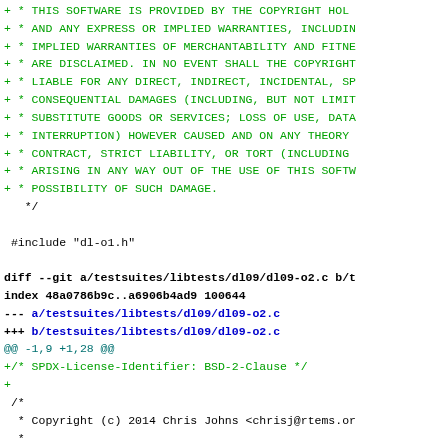Diff output showing code changes including license header replacement and git diff metadata for testsuites/libtests/dl09/dl09-o2.c